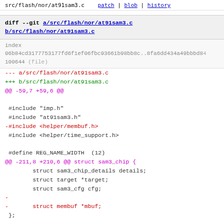src/flash/nor/at91sam3.c    patch | blob | history
diff --git a/src/flash/nor/at91sam3.c b/src/flash/nor/at91sam3.c
index 06b84cd3177753177fd6f1ef06fbc93661b98bb8c..8fa6dd434a49bbbd84 100644 (file)
--- a/src/flash/nor/at91sam3.c
+++ b/src/flash/nor/at91sam3.c
@@ -59,7 +59,6 @@
 #include "imp.h"
 #include "at91sam3.h"
-#include <helper/membuf.h>
 #include <helper/time_support.h>

 #define REG_NAME_WIDTH  (12)
@@ -211,8 +210,6 @@ struct sam3_chip {
        struct sam3_chip_details details;
        struct target *target;
        struct sam3_cfg cfg;
-
-       struct membuf *mbuf;
 };

@@ -1000,20 +997,6 @@ FLASHD_Lock(struct sam3_bank_private *
 /****** END SAM3 CODE *********/

 /* begin helpful debug code */